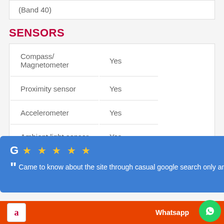(Band 40)
SENSORS
|  |  |
| --- | --- |
| Compass/ Magnetometer | Yes |
| Proximity sensor | Yes |
| Accelerometer | Yes |
| Ambient light sensor | Yes |
[Figure (screenshot): Google review overlay card showing 5-star rating and review text: 'Came to know about the site through casual google search only and I'm really happy I found this ...' by ANAND M - 1 month ago]
Whatsapp